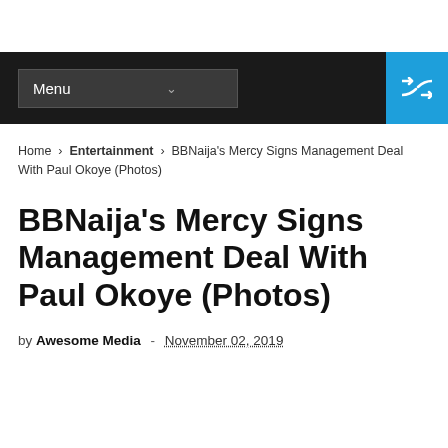Menu
Home > Entertainment > BBNaija's Mercy Signs Management Deal With Paul Okoye (Photos)
BBNaija's Mercy Signs Management Deal With Paul Okoye (Photos)
by Awesome Media - November 02, 2019